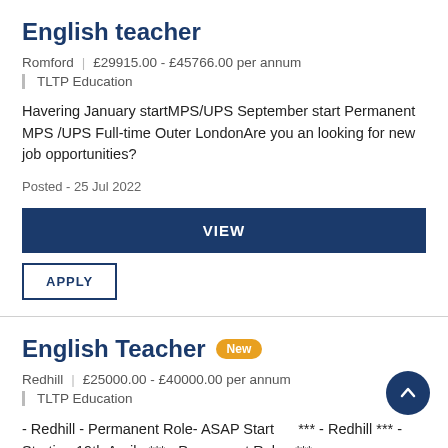English teacher
Romford | £29915.00 - £45766.00 per annum | TLTP Education
Havering January startMPS/UPS September start Permanent MPS /UPS Full-time Outer LondonAre you an looking for new job opportunities?
Posted - 25 Jul 2022
VIEW
APPLY
English Teacher New
Redhill | £25000.00 - £40000.00 per annum | TLTP Education
- Redhill - Permanent Role- ASAP Start      *** - Redhill *** - Starting 19th April   *** - Permanent Role   *** -